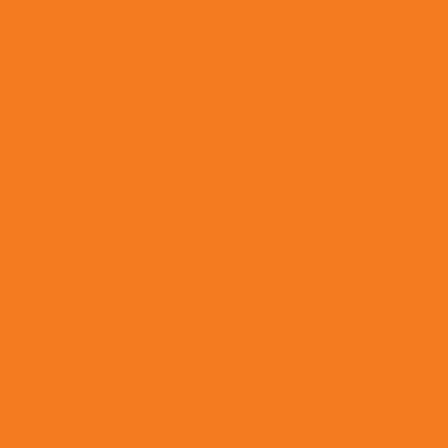[Figure (other): Solid orange background filling the entire page. The color is a vivid orange approximately #F47B20.]